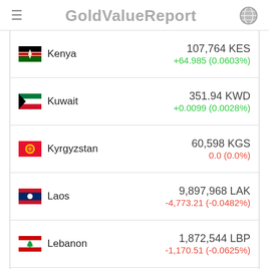GoldValueReport
| Country | Value | Change |
| --- | --- | --- |
| Kenya | 107,764 KES | +64.985 (0.0603%) |
| Kuwait | 351.94 KWD | +0.0099 (0.0028%) |
| Kyrgyzstan | 60,598 KGS | 0.0 (0.0%) |
| Laos | 9,897,968 LAK | -4,773.21 (-0.0482%) |
| Lebanon | 1,872,544 LBP | -1,170.51 (-0.0625%) |
| Lesotho | 12,541 LSL | -11.902 (-0.0948%) |
| Liberia | 99,719 LRD | 0.0 (0.0%) |
| Libya (partial) | 1,552.29 LYD |  |